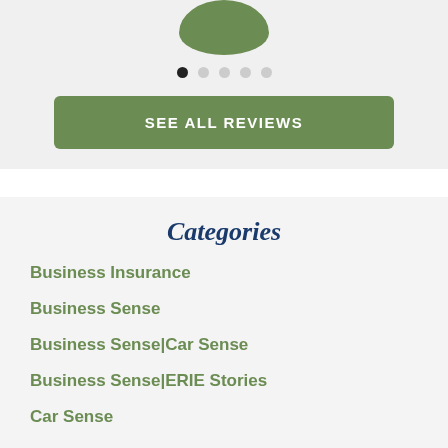[Figure (illustration): Partial view of a circular green avatar photo at the top of the page, cropped at the top]
[Figure (other): Pagination dots row: first dot is dark/active, followed by four light gray dots]
SEE ALL REVIEWS
Categories
Business Insurance
Business Sense
Business Sense|Car Sense
Business Sense|ERIE Stories
Car Sense